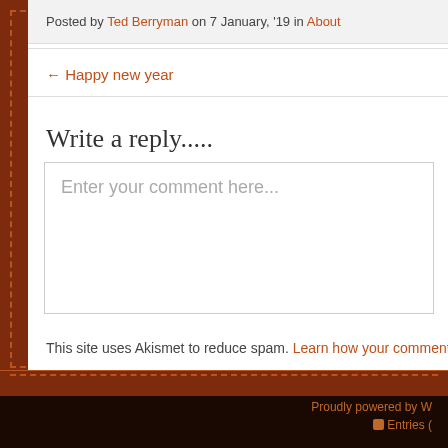Posted by Ted Berryman on 7 January, '19 in About
← Happy new year
Write a reply.....
Enter your comment here...
This site uses Akismet to reduce spam. Learn how your comment da
Proudly powered by W
Entries (